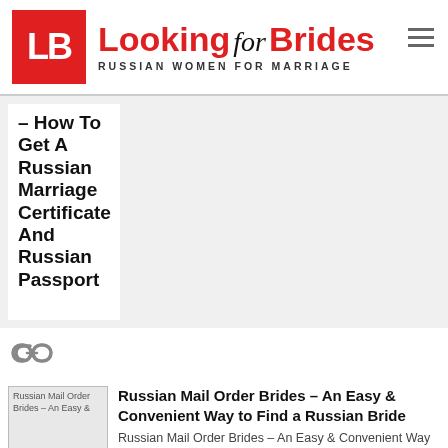[Figure (logo): Looking for Brides logo with red LB square icon, red and black text reading 'Looking for Brides' and subtitle 'RUSSIAN WOMEN FOR MARRIAGE']
– How To Get A Russian Marriage Certificate And Russian Passport
[Figure (illustration): Chain link / hyperlink icon in gray]
[Figure (photo): Thumbnail image for Russian Mail Order Brides article, broken image placeholder]
Russian Mail Order Brides – An Easy & Convenient Way to Find a Russian Bride
Russian Mail Order Brides – An Easy & Convenient Way ...